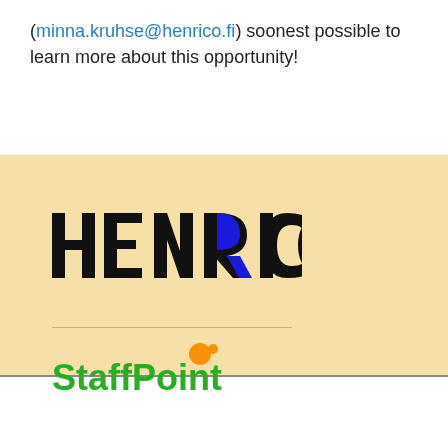(minna.kruhse@henrico.fi) soonest possible to learn more about this opportunity!
[Figure (logo): HENRICO logo with stylized blue R character in bold black text]
[Figure (logo): StaffPoint logo with orange circle dot and green text]